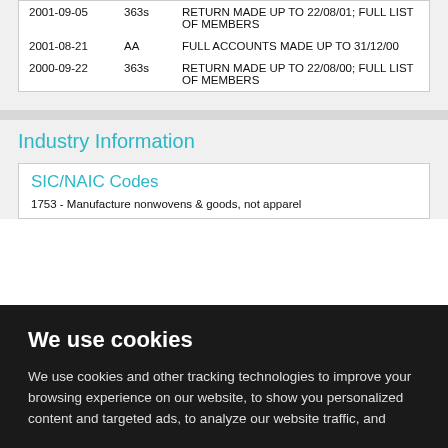| Date | Type | Description |
| --- | --- | --- |
| 2001-09-05 | 363s | RETURN MADE UP TO 22/08/01; FULL LIST OF MEMBERS |
| 2001-08-21 | AA | FULL ACCOUNTS MADE UP TO 31/12/00 |
| 2000-09-22 | 363s | RETURN MADE UP TO 22/08/00; FULL LIST OF MEMBERS |
Industry Information
SIC/NAIC Codes
1753 - Manufacture nonwovens & goods, not apparel
We use cookies
We use cookies and other tracking technologies to improve your browsing experience on our website, to show you personalized content and targeted ads, to analyze our website traffic, and